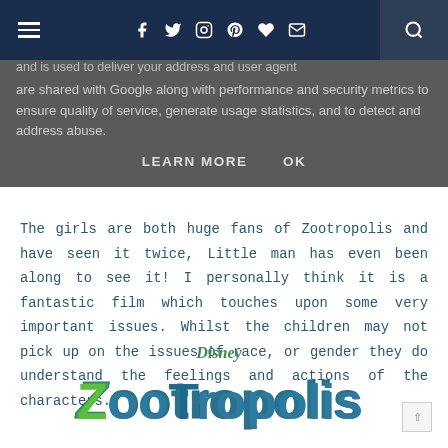Navigation bar with hamburger menu, social icons (facebook, twitter, instagram, pinterest, heart, email), and search button
and is used to deliver your address and user agent are shared with Google along with performance and security metrics to ensure quality of service, generate usage statistics, and to detect and address abuse. LEARN MORE   OK
The girls are both huge fans of Zootropolis and have seen it twice, Little man has even been along to see it! I personally think it is a fantastic film which touches upon some very important issues. Whilst the children may not pick up on the issues of race, or gender they do understand the feelings and actions of the characters.
[Figure (logo): Disney Zootropolis movie logo in green and teal colors]